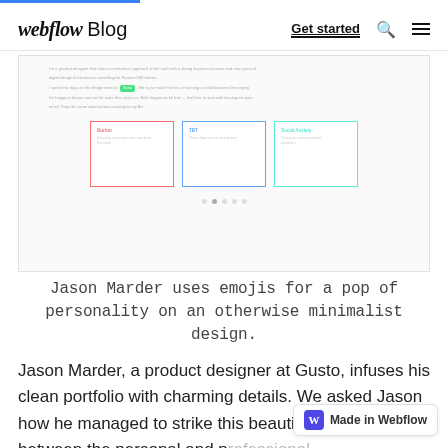webflow Blog  Get started
[Figure (screenshot): Screenshot of Jason Marder's portfolio website showing text blocks and three project cards with colored borders (red, blue, teal) and social share icons below]
Jason Marder uses emojis for a pop of personality on an otherwise minimalist design.
Jason Marder, a product designer at Gusto, infuses his clean portfolio with charming details. We asked Jason how he managed to strike this beautiful balance between the personal and p[rofessional]